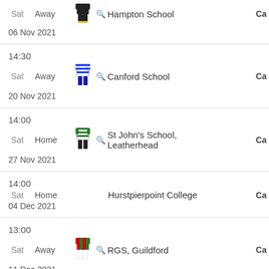| Time/Day/Date | Venue | Kit | Opponent | Category |
| --- | --- | --- | --- | --- |
| Sat / 06 Nov 2021 | Away |  | Hampton School | Ca |
| 14:30 / Sat / 20 Nov 2021 | Away |  | Canford School | Ca |
| 14:00 / Sat / 27 Nov 2021 | Home |  | St John's School, Leatherhead | Ca |
| 14:00 / Sat / 04 Dec 2021 | Home |  | Hurstpierpoint College | Ca |
| 13:00 / Sat / 11 Dec 2021 | Away |  | RGS, Guildford | Ca |